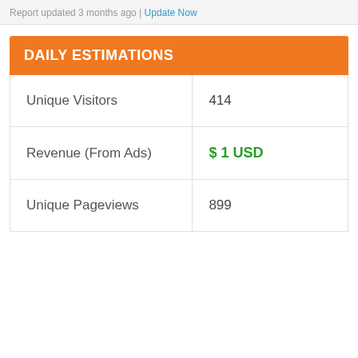Report updated 3 months ago | Update Now
DAILY ESTIMATIONS
| Unique Visitors | 414 |
| Revenue (From Ads) | $ 1 USD |
| Unique Pageviews | 899 |